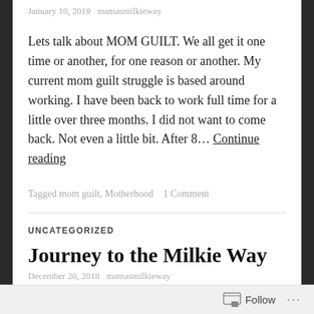January 10, 2019   mamasmilkieway
Lets talk about MOM GUILT. We all get it one time or another, for one reason or another. My current mom guilt struggle is based around working. I have been back to work full time for a little over three months. I did not want to come back. Not even a little bit. After 8… Continue reading
Tagged mom guilt, Motherhood   1 Comment
UNCATEGORIZED
Journey to the Milkie Way
December 20, 2018   mamasmilkieway
Follow